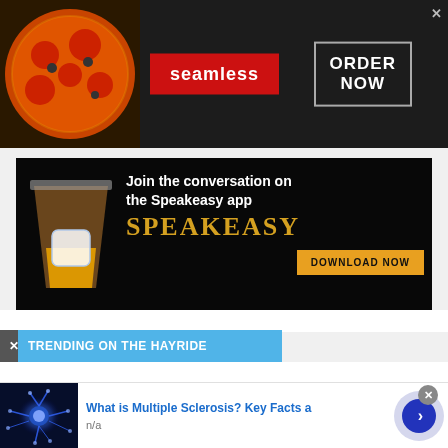[Figure (infographic): Seamless food delivery advertisement banner. Dark background with pizza image on left, red 'seamless' badge in center, and 'ORDER NOW' box outlined in grey on right. Close button top right.]
[Figure (infographic): Speakeasy app advertisement. Black background with illustrated whiskey glass with ice cube on left. White bold text 'Join the conversation on the Speakeasy app', gold serif 'SPEAKEASY' brand name, and orange 'DOWNLOAD NOW' button.]
TRENDING ON THE HAYRIDE
[Figure (photo): Neural network / multiple sclerosis brain cell image in blue tones]
What is Multiple Sclerosis? Key Facts a
n/a